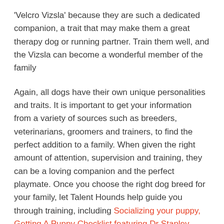'Velcro Vizsla' because they are such a dedicated companion, a trait that may make them a great therapy dog or running partner. Train them well, and the Vizsla can become a wonderful member of the family
Again, all dogs have their own unique personalities and traits. It is important to get your information from a variety of sources such as breeders, veterinarians, groomers and trainers, to find the perfect addition to a family. When given the right amount of attention, supervision and training, they can be a loving companion and the perfect playmate. Once you choose the right dog breed for your family, let Talent Hounds help guide you through training, including Socializing your puppy, Getting A Puppy Checklist featuring Dr Stanley Coren, Potty Training and more!